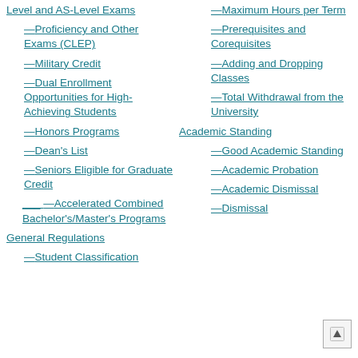—Level and AS-Level Exams
—Proficiency and Other Exams (CLEP)
—Military Credit
—Dual Enrollment Opportunities for High-Achieving Students
—Honors Programs
—Dean's List
—Seniors Eligible for Graduate Credit
—Accelerated Combined Bachelor's/Master's Programs
General Regulations
—Student Classification
—Maximum Hours per Term
—Prerequisites and Corequisites
—Adding and Dropping Classes
—Total Withdrawal from the University
Academic Standing
—Good Academic Standing
—Academic Probation
—Academic Dismissal
—Dismissal